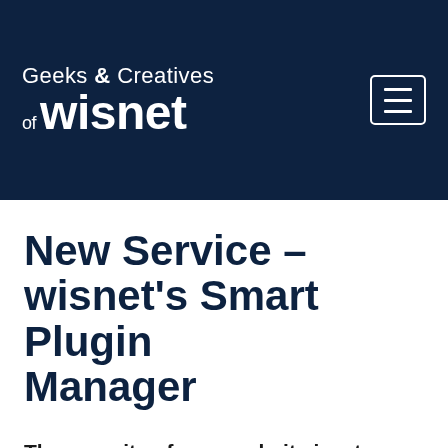Geeks & Creatives of wisnet
New Service – wisnet's Smart Plugin Manager
The security of your website is a top priority for us. To help keep your website running safe, secure and